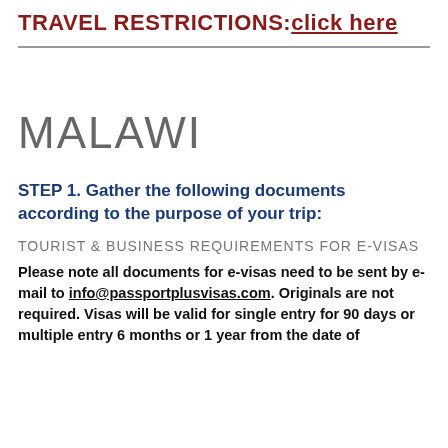TRAVEL RESTRICTIONS: click here
MALAWI
STEP 1. Gather the following documents according to the purpose of your trip:
TOURIST & BUSINESS REQUIREMENTS FOR E-VISAS
Please note all documents for e-visas need to be sent by e-mail to info@passportplusvisas.com. Originals are not required. Visas will be valid for single entry for 90 days or multiple entry 6 months or 1 year from the date of